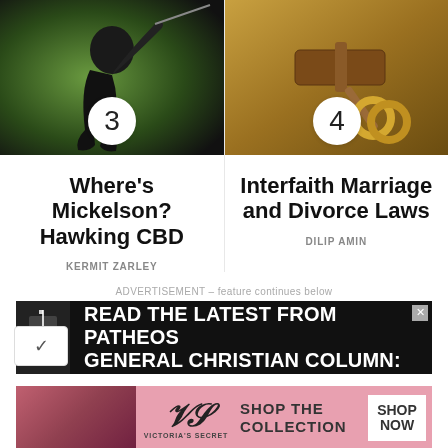[Figure (photo): Photo of golfer mid-swing in black shirt, numbered badge '3']
[Figure (photo): Photo of gavel with gold wedding rings, numbered badge '4']
Where's Mickelson? Hawking CBD
Interfaith Marriage and Divorce Laws
KERMIT ZARLEY
DILIP AMIN
ADVERTISEMENT – feature continues below
[Figure (photo): Advertisement banner: READ THE LATEST FROM PATHEOS GENERAL CHRISTIAN COLUMN: with cross/book icon]
[Figure (photo): Victoria's Secret advertisement: SHOP THE COLLECTION, SHOP NOW]